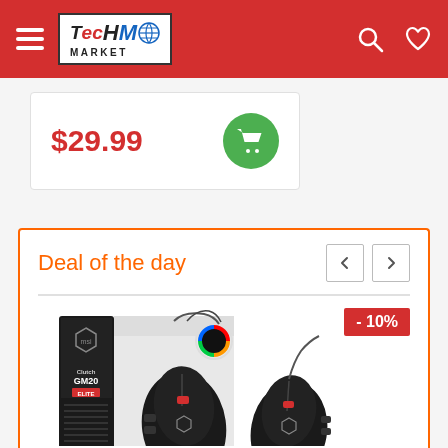TecHMarket navigation header with logo, search and wishlist icons
$29.99
[Figure (screenshot): Green circular add-to-cart button with shopping cart icon]
Deal of the day
[Figure (photo): MSI Clutch GM20 Elite gaming mouse product photo showing the mouse and its retail box packaging with RGB lighting, -10% discount badge in red]